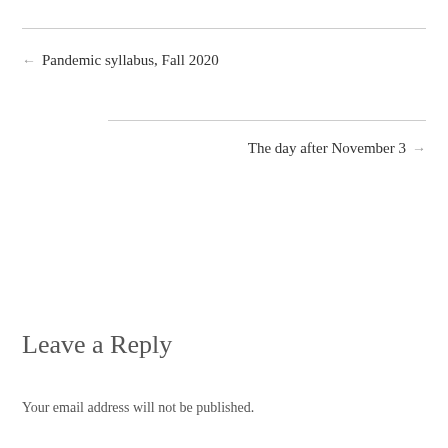← Pandemic syllabus, Fall 2020
The day after November 3 →
Leave a Reply
Your email address will not be published.